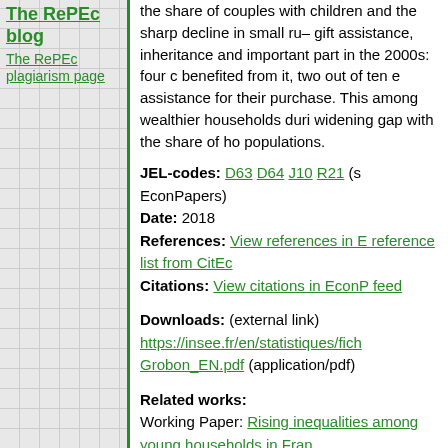The RePEc blog
The RePEc plagiarism page
the share of couples with children and the sharp decline in small ru– gift assistance, inheritance and important part in the 2000s: four c benefited from it, two out of ten e assistance for their purchase. This among wealthier households duri widening gap with the share of ho populations.
JEL-codes: D63 D64 J10 R21 (s EconPapers)
Date: 2018
References: View references in E reference list from CitEc
Citations: View citations in EconP feed
Downloads: (external link) https://insee.fr/en/statistiques/fich Grobon_EN.pdf (application/pdf)
Related works:
Working Paper: Rising inequalities among young households in Fran This item may be available elsewh items with the same title.
Export reference: BibTeX RIS (R